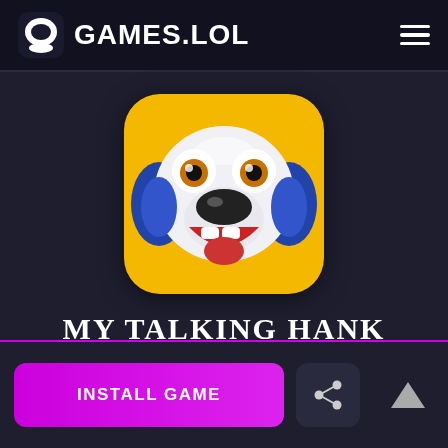GAMES.LOL
[Figure (illustration): My Talking Hank app icon — yellow rounded square background with a cartoon white dog with blue ears, large black nose, golden eyes, and open smiling mouth]
MY TALKING HANK
INSTALL GAME